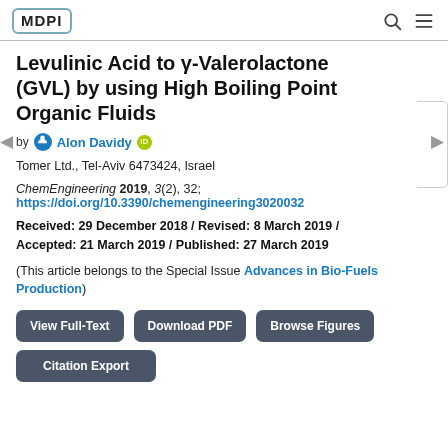MDPI
Levulinic Acid to γ-Valerolactone (GVL) by using High Boiling Point Organic Fluids
by Alon Davidy
Tomer Ltd., Tel-Aviv 6473424, Israel
ChemEngineering 2019, 3(2), 32; https://doi.org/10.3390/chemengineering3020032
Received: 29 December 2018 / Revised: 8 March 2019 / Accepted: 21 March 2019 / Published: 27 March 2019
(This article belongs to the Special Issue Advances in Bio-Fuels Production)